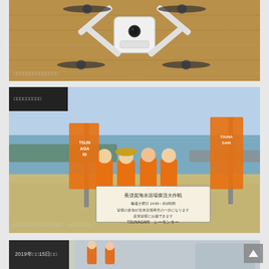[Figure (photo): Top-down view of a white DJI drone with black propellers on a wooden surface]
□□□□□□□□□□□□□□
[Figure (photo): Group of children in orange vests holding TSUNAGARI flags on a beach, with a sign about beach revitalization]
□□□□□□□□□□□□□□□□□　□□□□□□□□
[Figure (photo): Partial view of another photo card showing 2019年□月15日□□ badge and people in safety vests outdoors]